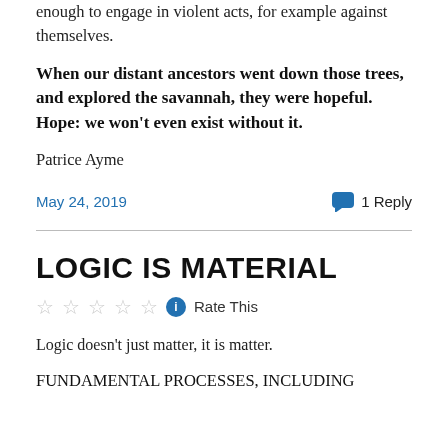enough to engage in violent acts, for example against themselves.
When our distant ancestors went down those trees, and explored the savannah, they were hopeful. Hope: we won't even exist without it.
Patrice Ayme
May 24, 2019
1 Reply
LOGIC IS MATERIAL
Rate This
Logic doesn't just matter, it is matter.
FUNDAMENTAL PROCESSES, INCLUDING